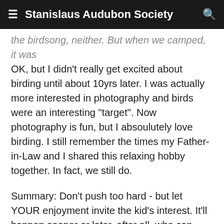Stanislaus Audubon Society
the birdsong, neither. But when we camped, it was OK, but I didn't really get excited about birding until about 10yrs later. I was actually more interested in photography and birds were an interesting "target". Now photography is fun, but I absoulutely love birding. I still remember the times my Father-in-Law and I shared this relaxing hobby together. In fact, we still do.
Summary: Don't push too hard - but let YOUR enjoyment invite the kid's interest. It'll happen sooner or later, after all, who can resist a Red-Breasted Nuthatch, or a Mountain Blue Bird, or a Ruby-Crowned Kinglet, or...